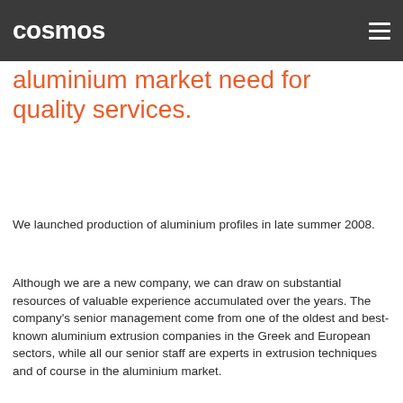cosmos
aluminium market need for quality services.
We launched production of aluminium profiles in late summer 2008.
Although we are a new company, we can draw on substantial resources of valuable experience accumulated over the years. The company’s senior management come from one of the oldest and best-known aluminium extrusion companies in the Greek and European sectors, while all our senior staff are experts in extrusion techniques and of course in the aluminium market.